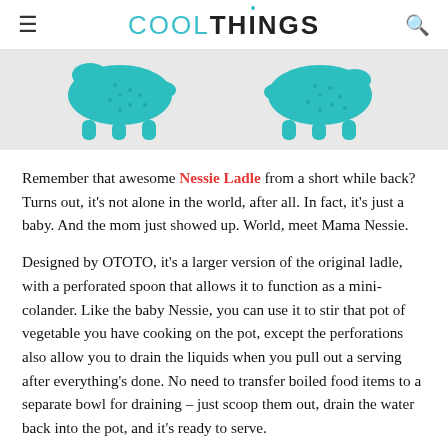COOLTHINGS
[Figure (photo): Two teal/turquoise Nessie-shaped colander spoons shown from front and back angles against a light grey background.]
Remember that awesome Nessie Ladle from a short while back? Turns out, it's not alone in the world, after all. In fact, it's just a baby. And the mom just showed up. World, meet Mama Nessie.
Designed by OTOTO, it's a larger version of the original ladle, with a perforated spoon that allows it to function as a mini-colander. Like the baby Nessie, you can use it to stir that pot of vegetable you have cooking on the pot, except the perforations also allow you to drain the liquids when you pull out a serving after everything's done. No need to transfer boiled food items to a separate bowl for draining – just scoop them out, drain the water back into the pot, and it's ready to serve.